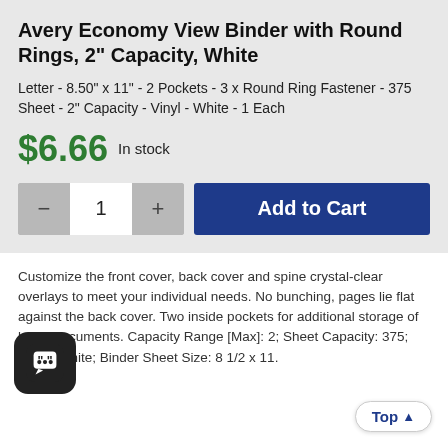Avery Economy View Binder with Round Rings, 2" Capacity, White
Letter - 8.50" x 11" - 2 Pockets - 3 x Round Ring Fastener - 375 Sheet - 2" Capacity - Vinyl - White - 1 Each
$6.66  In stock
Add to Cart
Customize the front cover, back cover and spine crystal-clear overlays to meet your individual needs. No bunching, pages lie flat against the back cover. Two inside pockets for additional storage of loose documents. Capacity Range [Max]: 2; Sheet Capacity: 375; Color: White; Binder Sheet Size: 8 1/2 x 11.